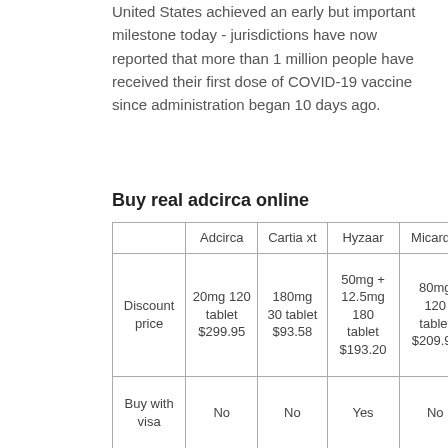United States achieved an early but important milestone today - jurisdictions have now reported that more than 1 million people have received their first dose of COVID-19 vaccine since administration began 10 days ago.
Buy real adcirca online
|  | Adcirca | Cartia xt | Hyzaar | Micardis |
| --- | --- | --- | --- | --- |
| Discount price | 20mg 120 tablet $299.95 | 180mg 30 tablet $93.58 | 50mg + 12.5mg 180 tablet $193.20 | 80mg 120 tablet $209.95 |
| Buy with visa | No | No | Yes | No |
| Online | 20mg 180 | 90mg 30 | 50mg + 12.5mg | 20mg 90 |